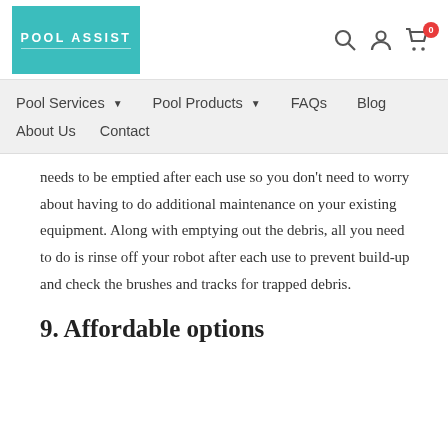[Figure (logo): Pool Assist logo - teal/turquoise square with white text POOL ASSIST]
Pool Services | Pool Products | FAQs | Blog | About Us | Contact
needs to be emptied after each use so you don't need to worry about having to do additional maintenance on your existing equipment. Along with emptying out the debris, all you need to do is rinse off your robot after each use to prevent build-up and check the brushes and tracks for trapped debris.
9. Affordable options